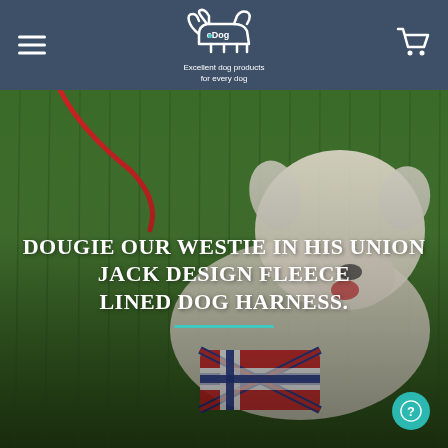[Figure (logo): eDog logo - stylized dog outline with 'eDog' text and tagline 'Excellent dog products for every dog']
[Figure (photo): A West Highland White Terrier (Westie) named Dougie lying on grass wearing a Union Jack design fleece lined dog harness with a red lead attached]
Dougie our Westie in his Union Jack design fleece lined dog harness.